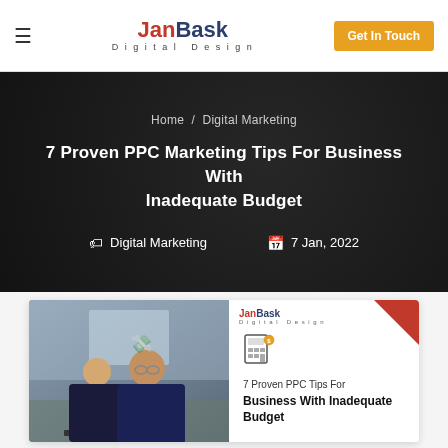JanBask Digital Design | Get In Touch
Home / Digital Marketing
7 Proven PPC Marketing Tips For Business With Inadequate Budget
Digital Marketing   7 Jan, 2022
[Figure (illustration): JanBask Digital Design branded article thumbnail showing two businessmen working at a laptop on the left half, and on the right: calculator icon, text '7 Proven PPC Tips For Business With Inadequate Budget'. Red triangle decoration top right corner.]